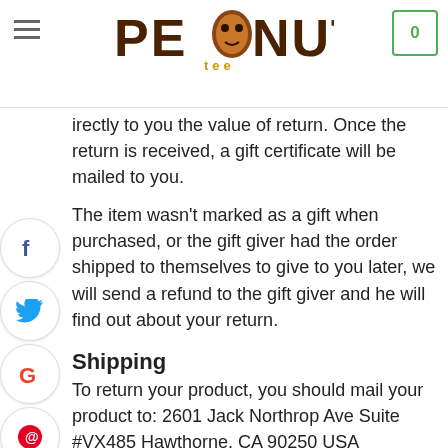Peanut Tee — logo and navigation header
directly to you the value of return. Once the return is received, a gift certificate will be mailed to you.
The item wasn't marked as a gift when purchased, or the gift giver had the order shipped to themselves to give to you later, we will send a refund to the gift giver and he will find out about your return.
Shipping
To return your product, you should mail your product to: 2601 Jack Northrop Ave Suite #VX485 Hawthorne, CA 90250 USA
You will be responsible for paying for your own shipping costs for returning your item. Shipping costs are non-refundable. If you receive a refund, the cost of return shipping will be deducted from your refund.